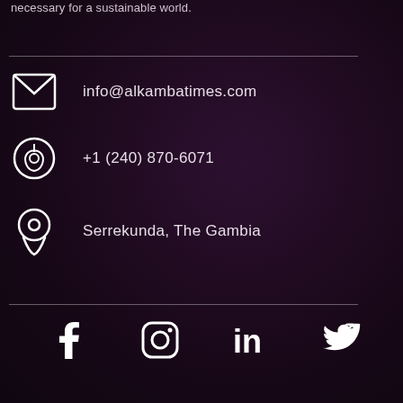necessary for a sustainable world.
info@alkambatimes.com
+1 (240) 870-6071
Serrekunda, The Gambia
[Figure (illustration): Social media icons: Facebook, Instagram, LinkedIn, Twitter]
Social icons: Facebook, Instagram, LinkedIn, Twitter